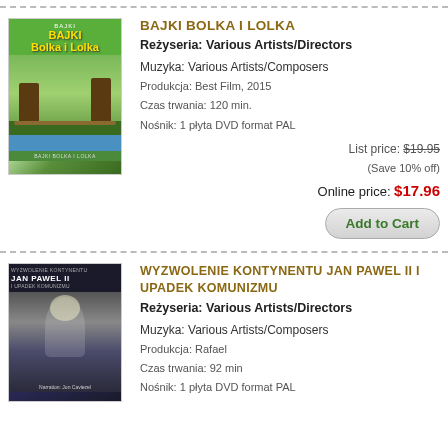[Figure (photo): DVD cover of Bajki Bolka i Lolka animated film showing cartoon characters on a bridge with nature background]
BAJKI BOLKA I LOLKA
Reżyseria: Various Artists/Directors
Muzyka: Various Artists/Composers
Produkcja: Best Film, 2015
Czas trwania: 120 min.
Nośnik: 1 płyta DVD format PAL
List price: $19.95
(Save 10% off)
Online price: $17.96
Add to Cart
[Figure (photo): DVD cover of Wyzwolenie Kontynentu Jan Pawel II i Upadek Komunizmu showing Pope John Paul II]
WYZWOLENIE KONTYNENTU JAN PAWEL II I UPADEK KOMUNIZMU
Reżyseria: Various Artists/Directors
Muzyka: Various Artists/Composers
Produkcja: Rafael
Czas trwania: 92 min
Nośnik: 1 płyta DVD format PAL